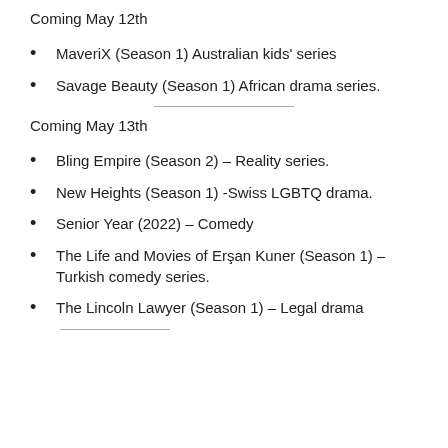Coming May 12th
MaveriX (Season 1) Australian kids' series
Savage Beauty (Season 1) African drama series.
Coming May 13th
Bling Empire (Season 2) – Reality series.
New Heights (Season 1) -Swiss LGBTQ drama.
Senior Year (2022) – Comedy
The Life and Movies of Erşan Kuner (Season 1) – Turkish comedy series.
The Lincoln Lawyer (Season 1) – Legal drama